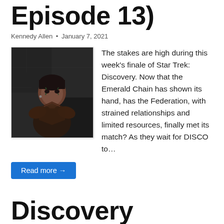Episode 13)
Kennedy Allen • January 7, 2021
[Figure (photo): A person in science fiction costume with facial markings, from Star Trek: Discovery]
The stakes are high during this week's finale of Star Trek: Discovery. Now that the Emerald Chain has shown its hand, has the Federation, with strained relationships and limited resources, finally met its match? As they wait for DISCO to…
Read more →
Discovery Recap: There Is A Tide...